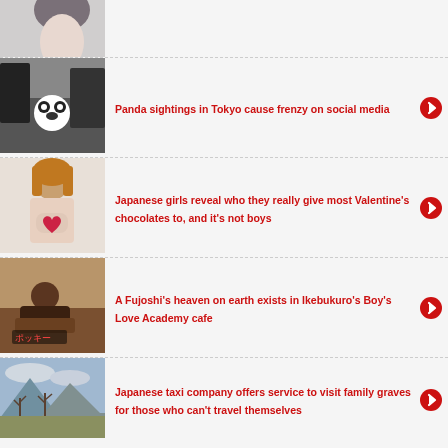[Figure (photo): Partial image of a woman with dark hair, cropped at top]
[Figure (photo): Crowd of people with a panda mascot visible]
Panda sightings in Tokyo cause frenzy on social media
[Figure (photo): Japanese girl holding a red heart, Valentine's theme]
Japanese girls reveal who they really give most Valentine's chocolates to, and it's not boys
[Figure (photo): People at a cafe, Japanese text overlay reading ポッキー]
A Fujoshi's heaven on earth exists in Ikebukuro's Boy's Love Academy cafe
[Figure (photo): Landscape with mountains and bare trees under cloudy sky]
Japanese taxi company offers service to visit family graves for those who can't travel themselves